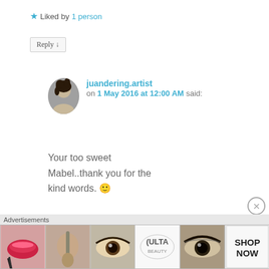★ Liked by 1 person
Reply ↓
juandering.artist on 1 May 2016 at 12:00 AM said:
Your too sweet Mabel..thank you for the kind words. 🙂
★ Liked by 1 person
Reply ↓
Advertisements
[Figure (photo): ULTA beauty advertisement banner showing makeup products, lips with red lipstick, makeup brush, eye with makeup, ULTA logo, smokey eye makeup, and SHOP NOW text]